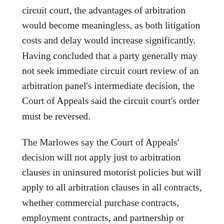circuit court, the advantages of arbitration would become meaningless, as both litigation costs and delay would increase significantly. Having concluded that a party generally may not seek immediate circuit court review of an arbitration panel's intermediate decision, the Court of Appeals said the circuit court's order must be reversed.
The Marlowes say the Court of Appeals' decision will not apply just to arbitration clauses in uninsured motorist policies but will apply to all arbitration clauses in all contracts, whether commercial purchase contracts, employment contracts, and partnership or shareholder agreements. The Marlowes argue the Court of Appeals' decision will have a chilling effect on all types of arbitration and will likely create a burden on the trial system because parties would not be willing to engage in arbitration if it is going to be as costly and time consuming as litigation. IDS